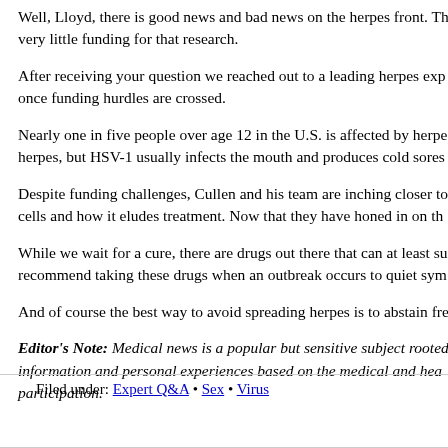Well, Lloyd, there is good news and bad news on the herpes front. Th very little funding for that research.
After receiving your question we reached out to a leading herpes exp once funding hurdles are crossed.
Nearly one in five people over age 12 in the U.S. is affected by herpe herpes, but HSV-1 usually infects the mouth and produces cold sores
Despite funding challenges, Cullen and his team are inching closer to cells and how it eludes treatment. Now that they have honed in on th
While we wait for a cure, there are drugs out there that can at least su recommend taking these drugs when an outbreak occurs to quiet sym
And of course the best way to avoid spreading herpes is to abstain fre
Editor's Note: Medical news is a popular but sensitive subject rooted information and personal experiences based on the medical and hea participation.
Filed under: Expert Q&A • Sex • Virus